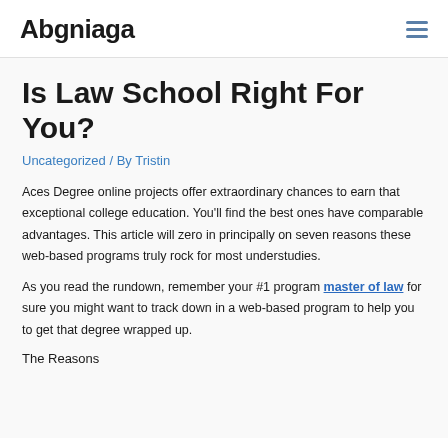Abgniaga
Is Law School Right For You?
Uncategorized / By Tristin
Aces Degree online projects offer extraordinary chances to earn that exceptional college education. You'll find the best ones have comparable advantages. This article will zero in principally on seven reasons these web-based programs truly rock for most understudies.
As you read the rundown, remember your #1 program master of law for sure you might want to track down in a web-based program to help you to get that degree wrapped up.
The Reasons